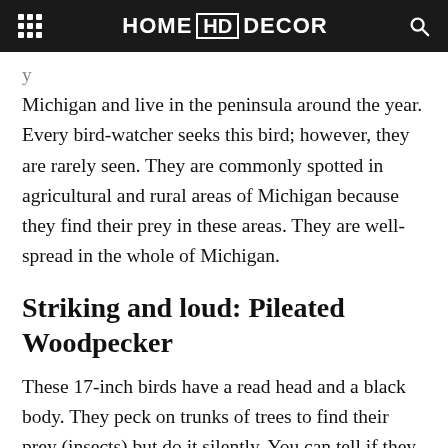HOME HD DECOR
Michigan and live in the peninsula around the year. Every bird-watcher seeks this bird; however, they are rarely seen. They are commonly spotted in agricultural and rural areas of Michigan because they find their prey in these areas. They are well-spread in the whole of Michigan.
Striking and loud: Pileated Woodpecker
These 17-inch birds have a read head and a black body. They peck on trunks of trees to find their prey (insects) but do it silently. You can tell if they were